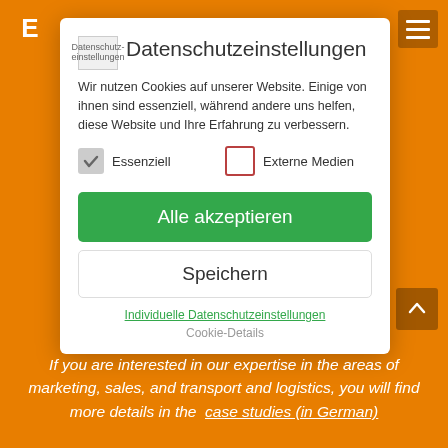Datenschutzeinstellungen
Wir nutzen Cookies auf unserer Website. Einige von ihnen sind essenziell, während andere uns helfen, diese Website und Ihre Erfahrung zu verbessern.
Essenziell   Externe Medien
Alle akzeptieren
Speichern
Individuelle Datenschutzeinstellungen
Cookie-Details
If you are interested in our expertise in the areas of marketing, sales, and transport and logistics, you will find more details in the  case studies (in German)